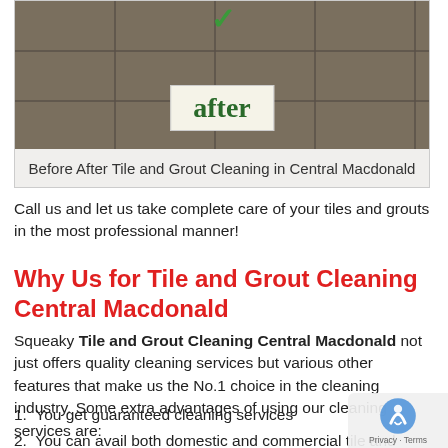[Figure (photo): Before/after tile and grout cleaning image with a beige label showing 'after' in green bold text on a cream background, set against a grey-brown tile surface]
Before After Tile and Grout Cleaning in Central Macdonald
Call us and let us take complete care of your tiles and grouts in the most professional manner!
Why Us for Tile and Grout Cleaning Central Macdonald
Squeaky Tile and Grout Cleaning Central Macdonald not just offers quality cleaning services but various other features that make us the No.1 choice in the cleaning industry. Some extra advantages of using our cleaning services are:
You get guaranteed cleaning services
You can avail both domestic and commercial tile and